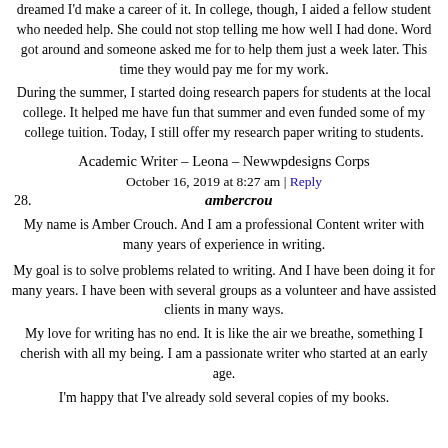dreamed I'd make a career of it. In college, though, I aided a fellow student who needed help. She could not stop telling me how well I had done. Word got around and someone asked me for to help them just a week later. This time they would pay me for my work.
During the summer, I started doing research papers for students at the local college. It helped me have fun that summer and even funded some of my college tuition. Today, I still offer my research paper writing to students.
Academic Writer – Leona – Newwpdesigns Corps
October 16, 2019 at 8:27 am | Reply
28. ambercrou
My name is Amber Crouch. And I am a professional Content writer with many years of experience in writing.
My goal is to solve problems related to writing. And I have been doing it for many years. I have been with several groups as a volunteer and have assisted clients in many ways.
My love for writing has no end. It is like the air we breathe, something I cherish with all my being. I am a passionate writer who started at an early age.
I'm happy that I've already sold several copies of my books.